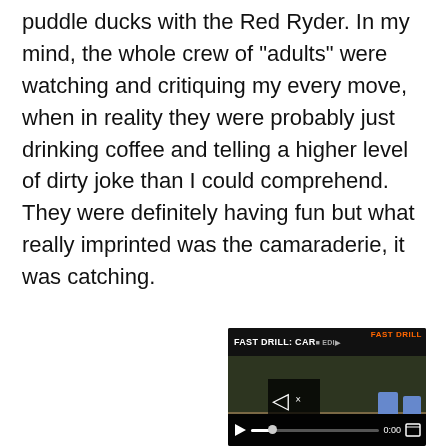puddle ducks with the Red Ryder. In my mind, the whole crew of "adults" were watching and critiquing my every move, when in reality they were probably just drinking coffee and telling a higher level of dirty joke than I could comprehend. They were definitely having fun but what really imprinted was the camaraderie, it was catching.
[Figure (photo): Man wearing a dark green beanie and brown apron, looking down, working in what appears to be a workshop. A video overlay appears in the lower right showing 'FAST DRILL: CAR...' with playback controls.]